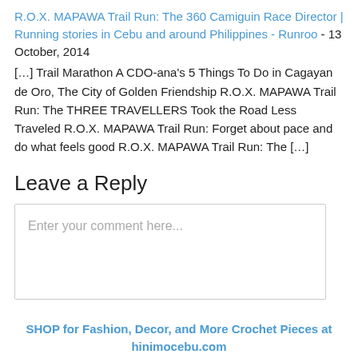R.O.X. MAPAWA Trail Run: The 360 Camiguin Race Director | Running stories in Cebu and around Philippines - Runroo - 13 October, 2014
[…] Trail Marathon A CDO-ana's 5 Things To Do in Cagayan de Oro, The City of Golden Friendship R.O.X. MAPAWA Trail Run: The THREE TRAVELLERS Took the Road Less Traveled R.O.X. MAPAWA Trail Run: Forget about pace and do what feels good R.O.X. MAPAWA Trail Run: The […]
Leave a Reply
Enter your comment here...
SHOP for Fashion, Decor, and More Crochet Pieces at hinimocebu.com
[Figure (other): Footer area showing three logos: 'hinimo cebu' text logo on the left, stylized 'hinimo' text in the center, and a search products input box on the right.]